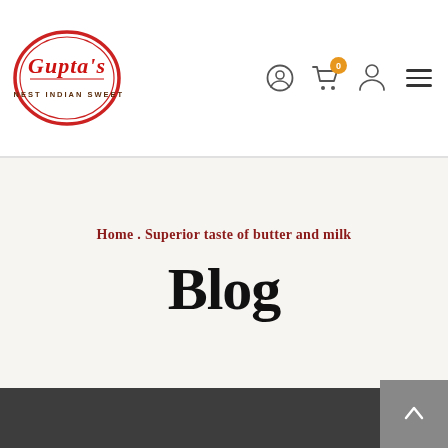[Figure (logo): Gupta's Finest Indian Sweets oval logo with red cursive text on white background with red border]
Home . Superior taste of butter and milk
Blog